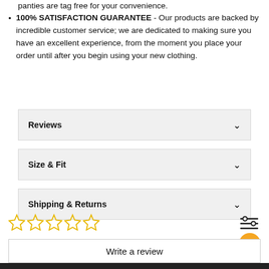panties are tag free for your convenience.
100% SATISFACTION GUARANTEE - Our products are backed by incredible customer service; we are dedicated to making sure you have an excellent experience, from the moment you place your order until after you begin using your new clothing.
Reviews
Size & Fit
Shipping & Returns
[Figure (other): Five empty star rating icons (no stars filled)]
[Figure (other): Filter/sliders icon]
Write a review